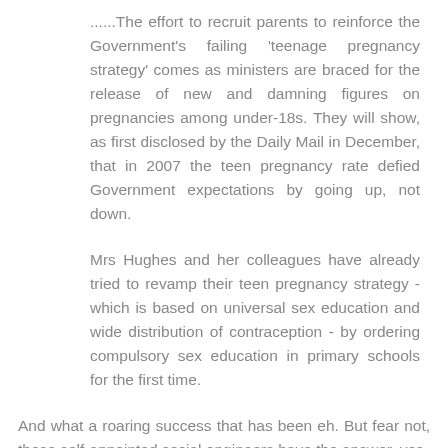......The effort to recruit parents to reinforce the Government's failing 'teenage pregnancy strategy' comes as ministers are braced for the release of new and damning figures on pregnancies among under-18s. They will show, as first disclosed by the Daily Mail in December, that in 2007 the teen pregnancy rate defied Government expectations by going up, not down.
Mrs Hughes and her colleagues have already tried to revamp their teen pregnancy strategy - which is based on universal sex education and wide distribution of contraception - by ordering compulsory sex education in primary schools for the first time.
And what a roaring success that has been eh. But fear not, these self-appointed social engineers have the answer, yes